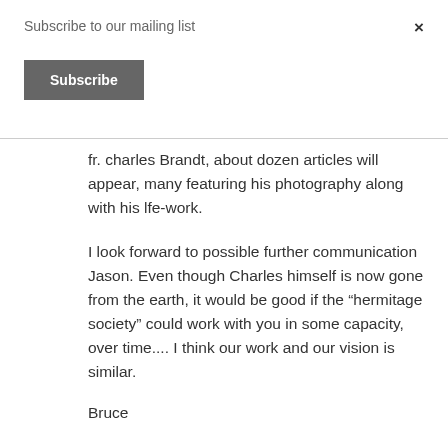Subscribe to our mailing list
×
Subscribe
fr. charles Brandt, about dozen articles will appear, many featuring his photography along with his lfe-work.
I look forward to possible further communication Jason. Even though Charles himself is now gone from the earth, it would be good if the “hermitage society” could work with you in some capacity, over time.... I think our work and our vision is similar.
Bruce